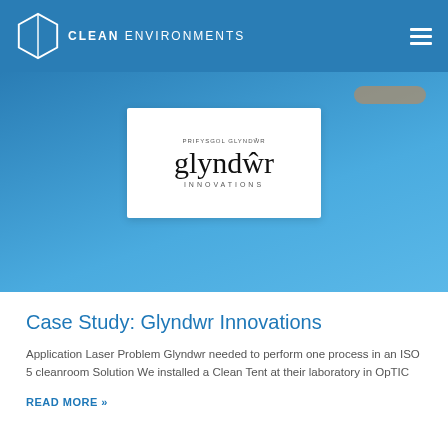CLEAN ENVIRONMENTS
[Figure (logo): Glyndwr Innovations logo on white card background, with text 'PRIFYSGOL GLYNDWR' above, 'glyndwr' in large serif font, and 'INNOVATIONS' below]
Case Study: Glyndwr Innovations
Application Laser Problem Glyndwr needed to perform one process in an ISO 5 cleanroom Solution We installed a Clean Tent at their laboratory in OpTIC
READ MORE »